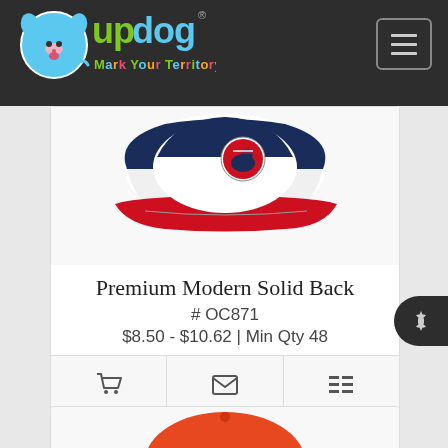[Figure (logo): Updog logo with dog face icon, green and blue 'updog' text, and tagline 'Mark Your Territory' in colorful letters on dark header background]
[Figure (photo): Navy, white, and red trucker cap with American flag dog logo patch on the front panel]
Premium Modern Solid Back
# OC871
$8.50 - $10.62 | Min Qty 48
[Figure (photo): Orange baseball cap, partially visible at bottom of page]